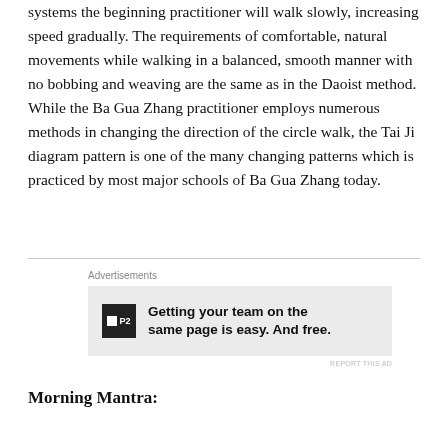systems the beginning practitioner will walk slowly, increasing speed gradually. The requirements of comfortable, natural movements while walking in a balanced, smooth manner with no bobbing and weaving are the same as in the Daoist method. While the Ba Gua Zhang practitioner employs numerous methods in changing the direction of the circle walk, the Tai Ji diagram pattern is one of the many changing patterns which is practiced by most major schools of Ba Gua Zhang today.
[Figure (other): Advertisement banner for P2 with text: Getting your team on the same page is easy. And free.]
Morning Mantra: